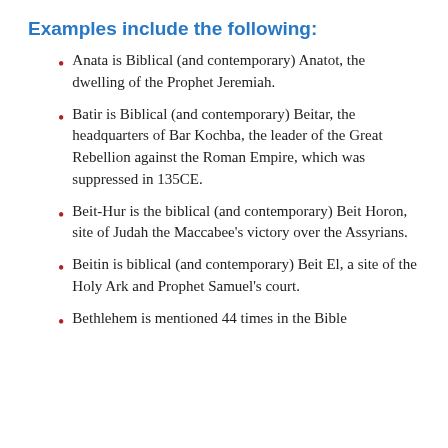Examples include the following:
Anata is Biblical (and contemporary) Anatot, the dwelling of the Prophet Jeremiah.
Batir is Biblical (and contemporary) Beitar, the headquarters of Bar Kochba, the leader of the Great Rebellion against the Roman Empire, which was suppressed in 135CE.
Beit-Hur is the biblical (and contemporary) Beit Horon, site of Judah the Maccabee’s victory over the Assyrians.
Beitin is biblical (and contemporary) Beit El, a site of the Holy Ark and Prophet Samuel’s court.
Bethlehem is mentioned 44 times in the Bible